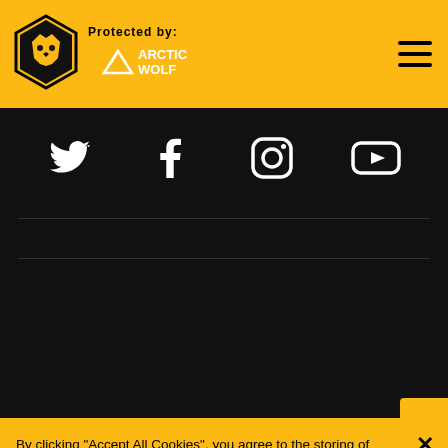Protected by: ARCTIC WOLF
[Figure (logo): Wolverhampton Wanderers FC hexagon badge logo with wolf head]
[Figure (logo): Arctic Wolf logo - white mountain/wolf icon with ARCTIC WOLF text]
[Figure (infographic): Social media icons row: Twitter, Facebook, Instagram, YouTube on dark background]
By clicking "Accept All Cookies", you agree to the storing of cookies on your device to enhance site navigation, analyze site usage, and assist in our marketing efforts. See our privacy policy
Cookies Settings
Reject All
Accept All Cookies